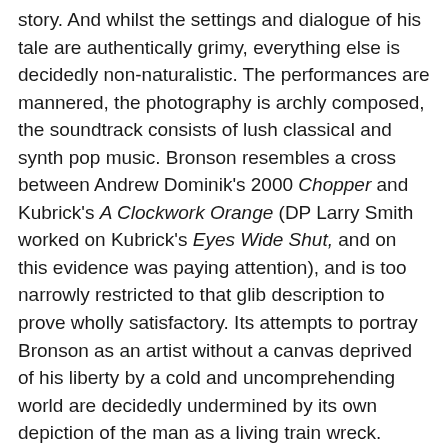story. And whilst the settings and dialogue of his tale are authentically grimy, everything else is decidedly non-naturalistic. The performances are mannered, the photography is archly composed, the soundtrack consists of lush classical and synth pop music. Bronson resembles a cross between Andrew Dominik's 2000 Chopper and Kubrick's A Clockwork Orange (DP Larry Smith worked on Kubrick's Eyes Wide Shut, and on this evidence was paying attention), and is too narrowly restricted to that glib description to prove wholly satisfactory. Its attempts to portray Bronson as an artist without a canvas deprived of his liberty by a cold and uncomprehending world are decidedly undermined by its own depiction of the man as a living train wreck.
The film's worth mainly lies with its version of Bronson as a terrifying, unpredictable and ludicrous individual utterly lacking in self-awareness, a rebel without a clue, a kidnapper without demands. Tom Hardy is terrific in the part, and the sequences showing his brief period of freedom in 1988 are